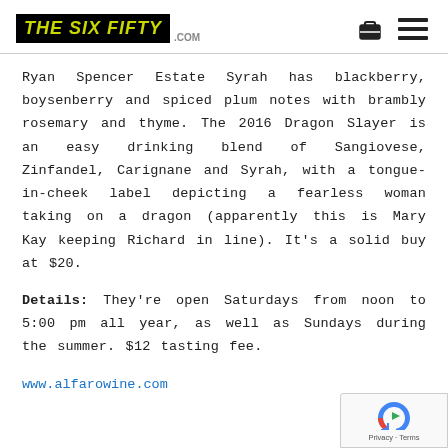THE SIX FIFTY .COM
Ryan Spencer Estate Syrah has blackberry, boysenberry and spiced plum notes with brambly rosemary and thyme. The 2016 Dragon Slayer is an easy drinking blend of Sangiovese, Zinfandel, Carignane and Syrah, with a tongue-in-cheek label depicting a fearless woman taking on a dragon (apparently this is Mary Kay keeping Richard in line). It’s a solid buy at $20.
Details: They’re open Saturdays from noon to 5:00 pm all year, as well as Sundays during the summer. $12 tasting fee.
www.alfarowine.com